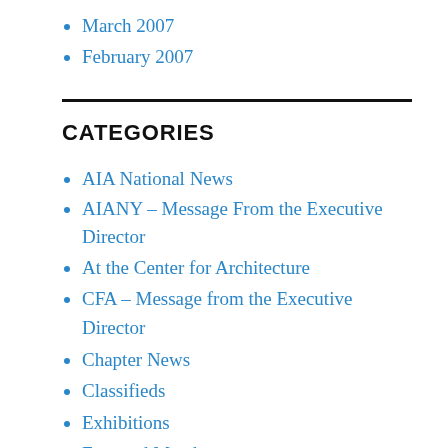March 2007
February 2007
CATEGORIES
AIA National News
AIANY – Message From the Executive Director
At the Center for Architecture
CFA – Message from the Executive Director
Chapter News
Classifieds
Exhibitions
Featured Member
From the Desk of the President